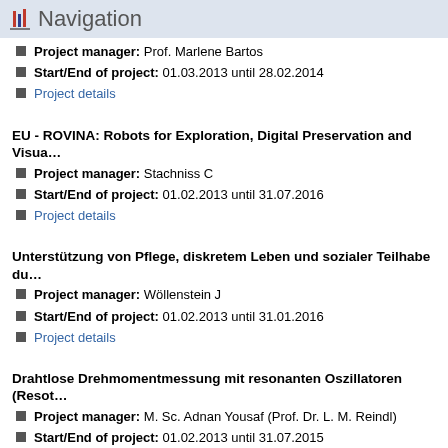Navigation
Project manager: Prof. Marlene Bartos
Start/End of project: 01.03.2013 until 28.02.2014
Project details
EU - ROVINA: Robots for Exploration, Digital Preservation and Visua...
Project manager: Stachniss C
Start/End of project: 01.02.2013 until 31.07.2016
Project details
Unterstützung von Pflege, diskretem Leben und sozialer Teilhabe du...
Project manager: Wöllenstein J
Start/End of project: 01.02.2013 until 31.01.2016
Project details
Drahtlose Drehmomentmessung mit resonanten Oszillatoren (Resot...
Project manager: M. Sc. Adnan Yousaf (Prof. Dr. L. M. Reindl)
Start/End of project: 01.02.2013 until 31.07.2015
Project details
Intelligente, Energiesparsame Kohlendioxid-Sensorik – iSens CO2